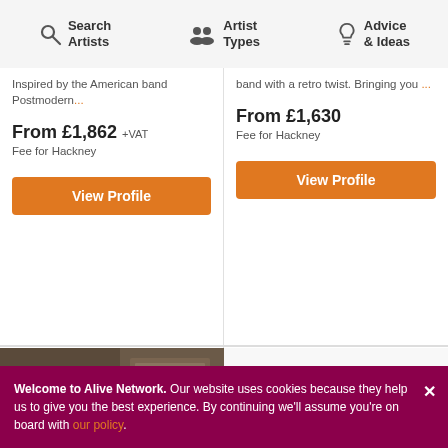Search Artists | Artist Types | Advice & Ideas
Inspired by the American band Postmodern...
From £1,862 +VAT
Fee for Hackney
View Profile
band with a retro twist. Bringing you ...
From £1,630
Fee for Hackney
View Profile
[Figure (photo): Band photo: rockabilly/swing band with upright bass, guitar, drums, and female vocalist in floral dress]
[Figure (photo): Two blonde women in red dresses, singing together]
Welcome to Alive Network. Our website uses cookies because they help us to give you the best experience. By continuing we'll assume you're on board with our policy.